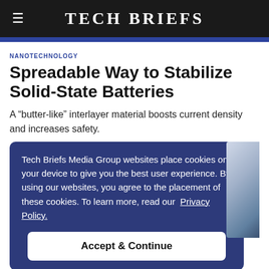Tech Briefs
NANOTECHNOLOGY
Spreadable Way to Stabilize Solid-State Batteries
A “butter-like” interlayer material boosts current density and increases safety.
Tech Briefs Media Group websites place cookies on your device to give you the best user experience. By using our websites, you agree to the placement of these cookies. To learn more, read our Privacy Policy.
Accept & Continue
The interlayer makes the battery cell much more stable and therefore